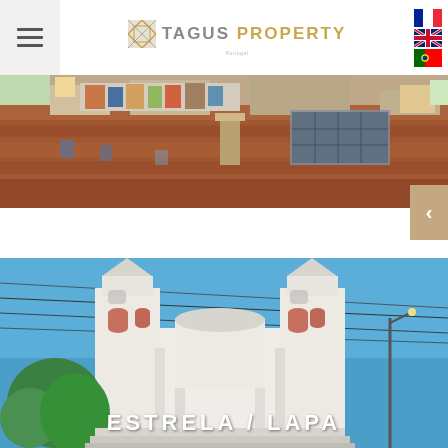Tagus Property — navigation header with menu button, logo, and language flags
[Figure (photo): Aerial view of Lisbon rooftops with red terracotta tiles and solar panels]
[Figure (photo): Estrela Basilica / church in Lisbon with blue sky background, with text overlay ESTRELA / LAPA]